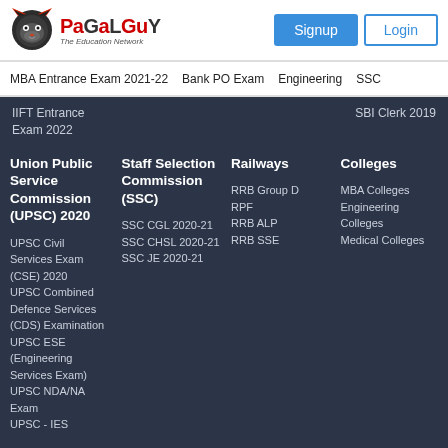[Figure (logo): PaGaLGuY logo - cartoon fox face with text 'PaGaLGuY The Education Network']
MBA Entrance Exam 2021-22   Bank PO Exam   Engineering   SSC
IIFT Entrance Exam 2022
SBI Clerk 2019
Union Public Service Commission (UPSC) 2020
Staff Selection Commission (SSC)
Railways
Colleges
UPSC Civil Services Exam (CSE) 2020
UPSC Combined Defence Services (CDS) Examination
UPSC ESE (Engineering Services Exam)
UPSC NDA/NA Exam
UPSC - IES
SSC CGL 2020-21
SSC CHSL 2020-21
SSC JE 2020-21
RRB Group D
RPF
RRB ALP
RRB SSE
MBA Colleges
Engineering Colleges
Medical Colleges